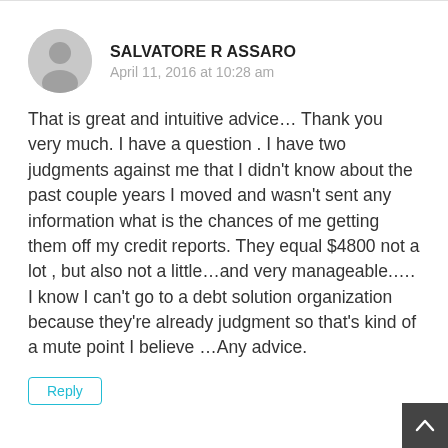SALVATORE R ASSARO
April 11, 2016 at 10:28 am
That is great and intuitive advice... Thank you very much. I have a question . I have two judgments against me that I didn't know about the past couple years I moved and wasn't sent any information what is the chances of me getting them off my credit reports. They equal $4800 not a lot , but also not a little...and very manageable..... I know I can't go to a debt solution organization because they're already judgment so that's kind of a mute point I believe ...Any advice.
Reply